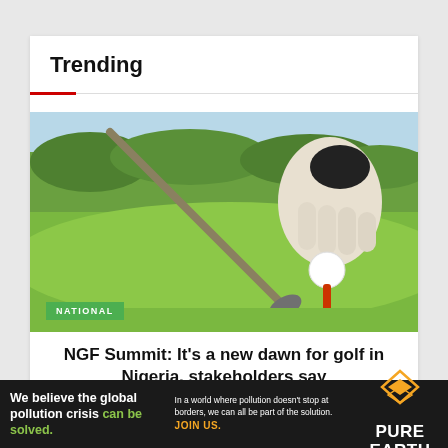Trending
[Figure (photo): A gloved golfer's hand placing a golf ball on a tee, with a golf club nearby on a green golf course]
NATIONAL
NGF Summit: It's a new dawn for golf in Nigeria, stakeholders say
[Figure (infographic): Pure Earth advertisement: We believe the global pollution crisis can be solved. In a world where pollution doesn't stop at borders, we can all be part of the solution. JOIN US.]